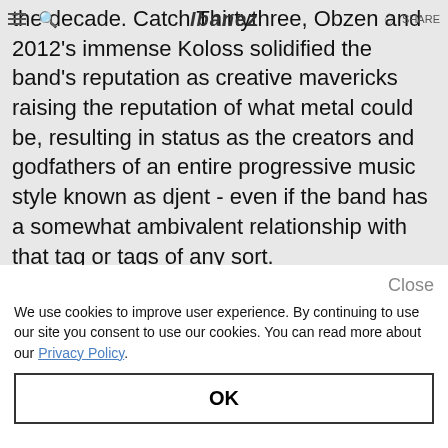Ibanez
the decade. Catch Thirtythree, Obzen and 2012's immense Koloss solidified the band's reputation as creative mavericks raising the reputation of what metal could be, resulting in status as the creators and godfathers of an entire progressive music style known as djent - even if the band has a somewhat ambivalent relationship with that tag or tags of any sort.
We use cookies to improve user experience. By continuing to use our site you consent to use our cookies. You can read more about our Privacy Policy.
OK